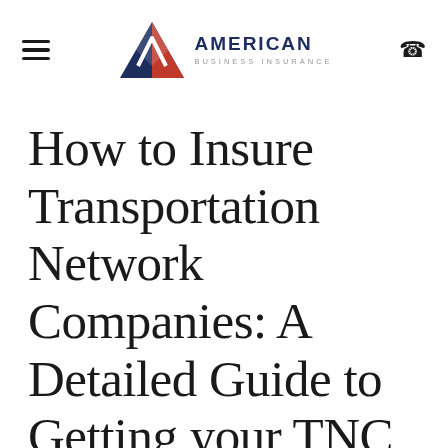American Business Insurance
How to Insure Transportation Network Companies: A Detailed Guide to Getting your TNC off the Ground